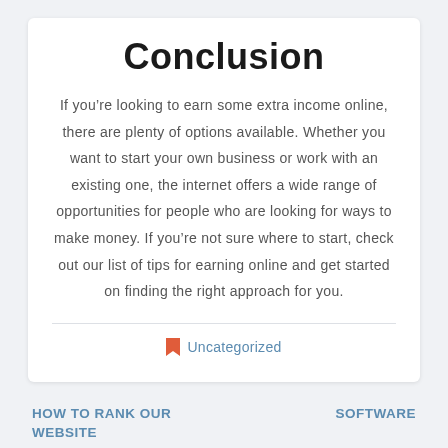Conclusion
If you’re looking to earn some extra income online, there are plenty of options available. Whether you want to start your own business or work with an existing one, the internet offers a wide range of opportunities for people who are looking for ways to make money. If you’re not sure where to start, check out our list of tips for earning online and get started on finding the right approach for you.
Uncategorized
HOW TO RANK OUR WEBSITE
SOFTWARE